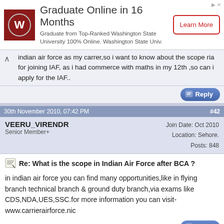[Figure (infographic): Advertisement banner for Washington State University online graduate program with logo, headline, description, and Learn More button]
indian air force as my carrer,so i want to know about the scope ria for joining IAF, as i had commerce with maths in my 12th ,so can i apply for the IAF..
30th November 2010, 07:42 PM
#42
VEERU_VIRENDR
Senior Member+
Join Date: Oct 2010
Location: Sehore.
Posts: 848
Re: What is the scope in Indian Air Force after BCA ?
in indian air force you can find many opportunities,like in flying branch technical branch & ground duty branch,via exams like CDS,NDA,UES,SSC.for more information you can visit- www.carrierairforce.nic
2nd December 2010, 11:45 AM
#43
Umesh B Singh
Junior Member
Join Date: Dec 2010
Posts: 1